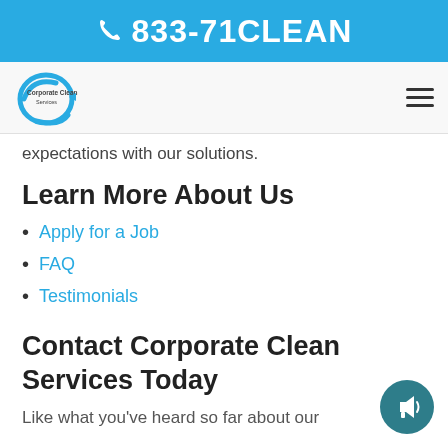📞 833-71CLEAN
[Figure (logo): Corporate Clean Services logo with blue swirl and text]
expectations with our solutions.
Learn More About Us
Apply for a Job
FAQ
Testimonials
Contact Corporate Clean Services Today
Like what you've heard so far about our